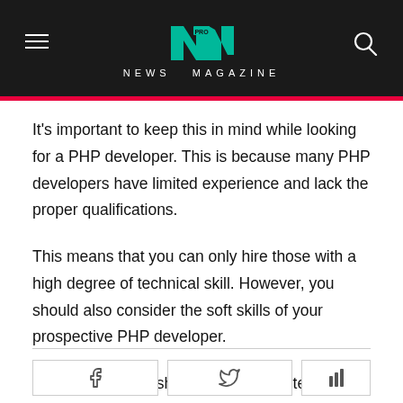NEWS MAGAZINE
It's important to keep this in mind while looking for a PHP developer. This is because many PHP developers have limited experience and lack the proper qualifications.
This means that you can only hire those with a high degree of technical skill. However, you should also consider the soft skills of your prospective PHP developer.
A PHP developer should be able to interact well with your team, but they should also be willing to spend time learning and developing the technology they need.